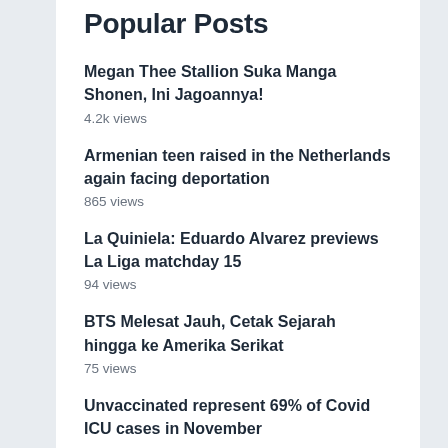Popular Posts
Megan Thee Stallion Suka Manga Shonen, Ini Jagoannya!
4.2k views
Armenian teen raised in the Netherlands again facing deportation
865 views
La Quiniela: Eduardo Alvarez previews La Liga matchday 15
94 views
BTS Melesat Jauh, Cetak Sejarah hingga ke Amerika Serikat
75 views
Unvaccinated represent 69% of Covid ICU cases in November